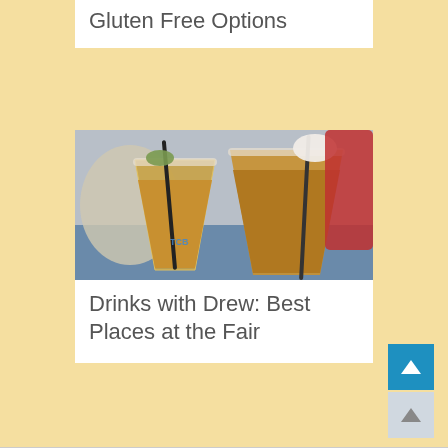Gluten Free Options
[Figure (photo): Photo of fair drinks - two plastic cups filled with golden/amber liquid, garnished with items on straws, with a red cup visible in the background. TCB watermark visible.]
Drinks with Drew: Best Places at the Fair